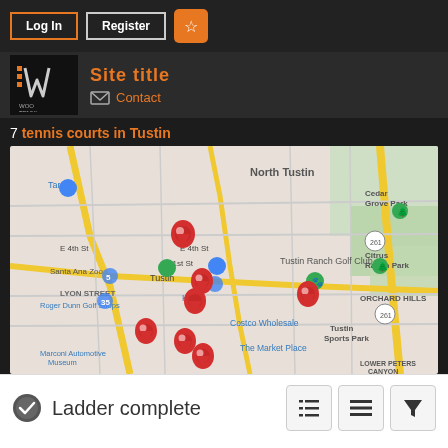Log In  Register  ★
[Figure (logo): WooTennis logo with orange dots and stylized W mark]
Contact
7 tennis courts in Tustin
[Figure (map): Google map of Tustin area showing 7 red tennis court location pins, with landmarks including Target, Kohl's, Santa Ana Zoo, Tustin Ranch Golf Club, Citrus Ranch Park, Cedar Grove Park, Tustin Sports Park, Costco Wholesale, The Market Place, Marconi Automotive Museum, Roger Dunn Golf Shops. Area labels: North Tustin, Orchard Hills, Lyon Street, Lower Peters Canyon.]
Ladder complete
[Figure (other): Three icon buttons: list view, menu/lines view, and filter funnel]